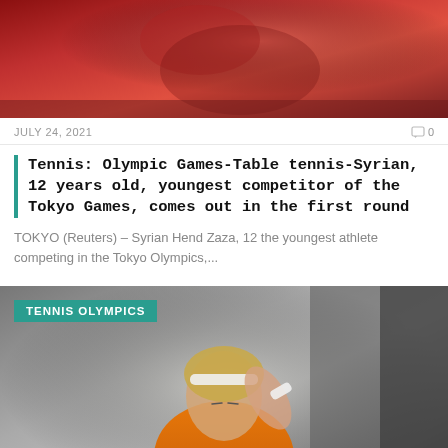[Figure (photo): Top photo: table tennis player in action, red/maroon background tones]
JULY 24, 2021
0
Tennis: Olympic Games-Table tennis-Syrian, 12 years old, youngest competitor of the Tokyo Games, comes out in the first round
TOKYO (Reuters) – Syrian Hend Zaza, 12 the youngest athlete competing in the Tokyo Olympics,...
[Figure (photo): Bottom photo: female tennis player in orange top with hand on head, TENNIS OLYMPICS badge overlay]
TENNIS OLYMPICS